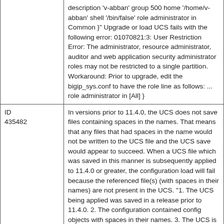| ID | Description |
| --- | --- |
|  | description 'v-abban' group 500 home '/home/v-abban' shell '/bin/false' role administrator in Common }" Upgrade or load UCS fails with the following error: 01070821:3: User Restriction Error: The administrator, resource administrator, auditor and web application security administrator roles may not be restricted to a single partition. Workaround: Prior to upgrade, edit the bigip_sys.conf to have the role line as follows: ... role administrator in [All] } |
| ID 435482 | In versions prior to 11.4.0, the UCS does not save files containing spaces in the names. That means that any files that had spaces in the name would not be written to the UCS file and the UCS save would appear to succeed. When a UCS file which was saved in this manner is subsequently applied to 11.4.0 or greater, the configuration load will fail because the referenced file(s) (with spaces in their names) are not present in the UCS. "1. The UCS being applied was saved in a release prior to 11.4.0. 2. The configuration contained config objects with spaces in their names. 3. The UCS is being applied to 11.4.0 or greater." After upgrading into the newer release, the initial config load will fail. |